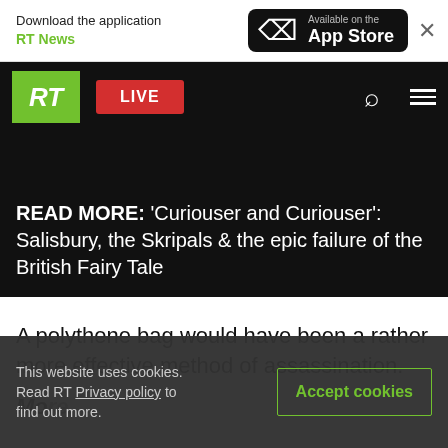Download the application RT News — Available on the App Store
[Figure (screenshot): RT news app navigation bar with RT logo (green), LIVE button (red), search icon, and hamburger menu on black background]
READ MORE: 'Curiouser and Curiouser': Salisbury, the Skripals & the epic failure of the British Fairy Tale
A polythene bag would have been a rather more effective method of assassination.
More... (partial, clipped)
This website uses cookies. Read RT Privacy policy to find out more. Accept cookies